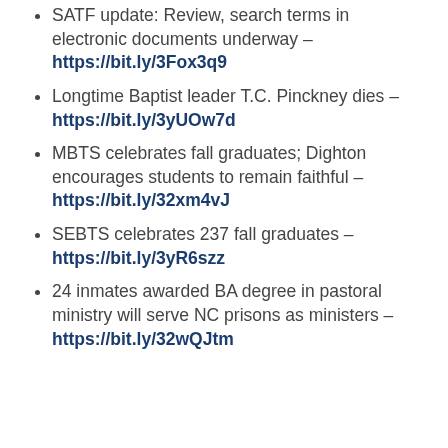SATF update: Review, search terms in electronic documents underway – https://bit.ly/3Fox3q9
Longtime Baptist leader T.C. Pinckney dies – https://bit.ly/3yUOw7d
MBTS celebrates fall graduates; Dighton encourages students to remain faithful – https://bit.ly/32xm4vJ
SEBTS celebrates 237 fall graduates – https://bit.ly/3yR6szz
24 inmates awarded BA degree in pastoral ministry will serve NC prisons as ministers – https://bit.ly/32wQJtm